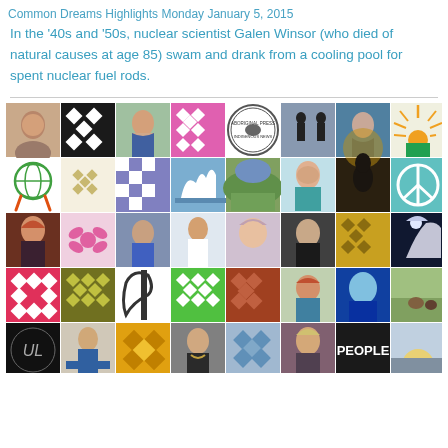Common Dreams Highlights Monday January 5, 2015
In the '40s and '50s, nuclear scientist Galen Winsor (who died of natural causes at age 85) swam and drank from a cooling pool for spent nuclear fuel rods.
[Figure (photo): Grid of user profile avatars/icons arranged in 6 rows of 8 columns, showing a mix of portrait photos, geometric pattern icons, logos, and symbolic images representing social media followers or commenters.]